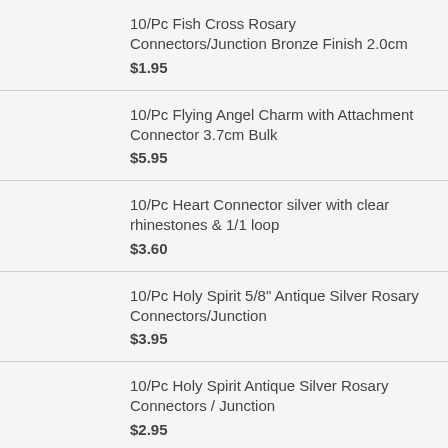10/Pc Fish Cross Rosary Connectors/Junction Bronze Finish 2.0cm
$1.95
10/Pc Flying Angel Charm with Attachment Connector 3.7cm Bulk
$5.95
10/Pc Heart Connector silver with clear rhinestones & 1/1 loop
$3.60
10/Pc Holy Spirit 5/8" Antique Silver Rosary Connectors/Junction
$3.95
10/Pc Holy Spirit Antique Silver Rosary Connectors / Junction
$2.95
10/pc Saint Benedict rosary Connectors Gold/Silver finish 1.5cm